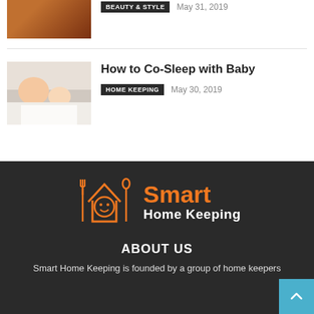[Figure (photo): Partial view of article thumbnail showing hair/beauty topic]
BEAUTY & STYLE   May 31, 2019
[Figure (photo): Mother and baby sleeping together in white bedding]
How to Co-Sleep with Baby
HOME KEEPING   May 30, 2019
[Figure (logo): Smart Home Keeping logo with orange house/fork/spoon icon and text]
ABOUT US
Smart Home Keeping is founded by a group of home keepers